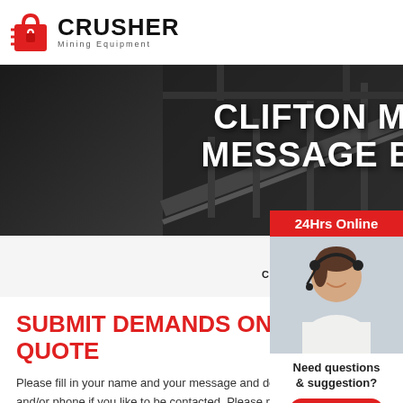[Figure (logo): Crusher Mining Equipment logo with red shopping bag icon and bold black CRUSHER text]
[Figure (photo): Dark background photo of mining equipment/conveyor belt machinery silhouette]
CLIFTON MINING MESSAGE BOARD
HOME → PRODUCT → CLIFTON MINING MESSAGE BOARD
SUBMIT DEMANDS ONLINE AND GET A QUOTE
Please fill in your name and your message and do not forget mail and/or phone if you like to be contacted. Please note that you do not need to have a mail programme to use this function.
24Hrs Online
Need questions & suggestion?
Chat Now
Enquiry
limingjlmofen@sina.com